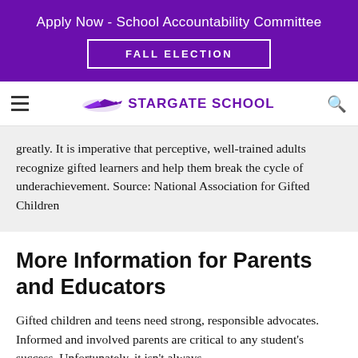Apply Now - School Accountability Committee
FALL ELECTION
Stargate School
greatly. It is imperative that perceptive, well-trained adults recognize gifted learners and help them break the cycle of underachievement. Source: National Association for Gifted Children
More Information for Parents and Educators
Gifted children and teens need strong, responsible advocates. Informed and involved parents are critical to any student's success. Unfortunately, it isn't always